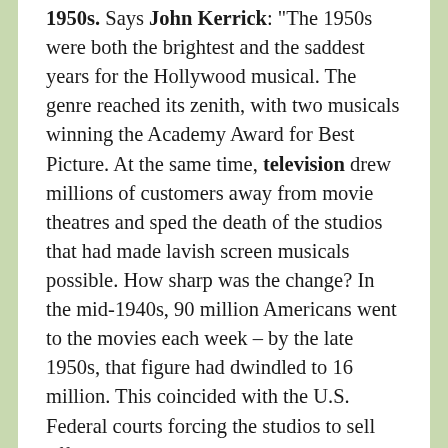1950s. Says John Kerrick: "The 1950s were both the brightest and the saddest years for the Hollywood musical. The genre reached its zenith, with two musicals winning the Academy Award for Best Picture. At the same time, television drew millions of customers away from movie theatres and sped the death of the studios that had made lavish screen musicals possible. How sharp was the change? In the mid-1940s, 90 million Americans went to the movies each week – by the late 1950s, that figure had dwindled to 16 million. This coincided with the U.S. Federal courts forcing the studios to sell off their nationwide theater chains. Shaken by these changes, a long-profitable system fell apart with amazing speed. By the decade's end, the major Hollywood studios disbanded most of their full-time